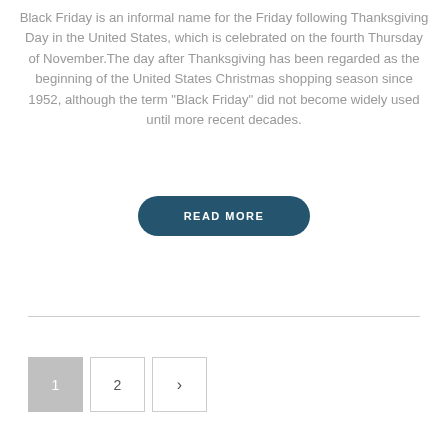Black Friday is an informal name for the Friday following Thanksgiving Day in the United States, which is celebrated on the fourth Thursday of November.The day after Thanksgiving has been regarded as the beginning of the United States Christmas shopping season since 1952, although the term "Black Friday" did not become widely used until more recent decades.
READ MORE
1 2 >